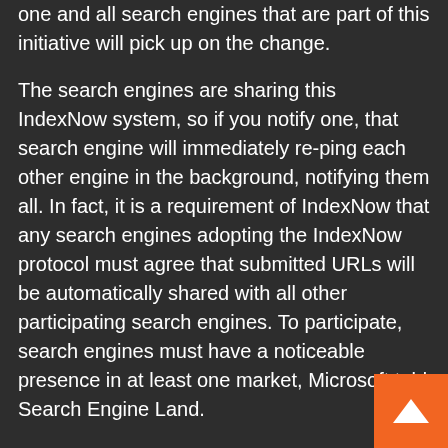one and all search engines that are part of this initiative will pick up on the change.
The search engines are sharing this IndexNow system, so if you notify one, that search engine will immediately re-ping each other engine in the background, notifying them all. In fact, it is a requirement of IndexNow that any search engines adopting the IndexNow protocol must agree that submitted URLs will be automatically shared with all other participating search engines. To participate, search engines must have a noticeable presence in at least one market, Microsoft told Search Engine Land.
Similar to Bing URL submission API. Is this similar to the Bing URL submission API? Yes, in that the aim reduce crawling requirements and improve efficiency. But, it is different in that this is a completely different